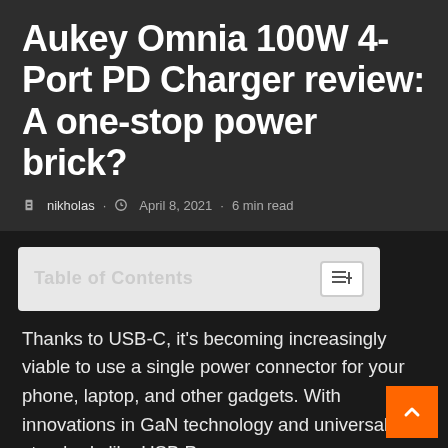Aukey Omnia 100W 4-Port PD Charger review: A one-stop power brick?
nikholas · April 8, 2021 · 6 min read
[Figure (other): Table of Contents box with toggle button]
Thanks to USB-C, it's becoming increasingly viable to use a single power connector for your phone, laptop, and other gadgets. With innovations in GaN technology and universal standards like USB Power Delivery, the charging adapter market is flush with multi-port charging hubs. Although picking the best one for your gadgets isn't necessarily easy.